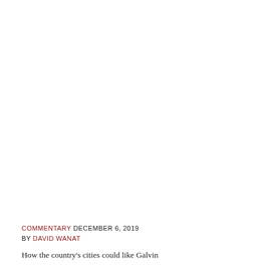COMMENTARY DECEMBER 6, 2019 BY DAVID WANAT
How the country's cities could like Galvin